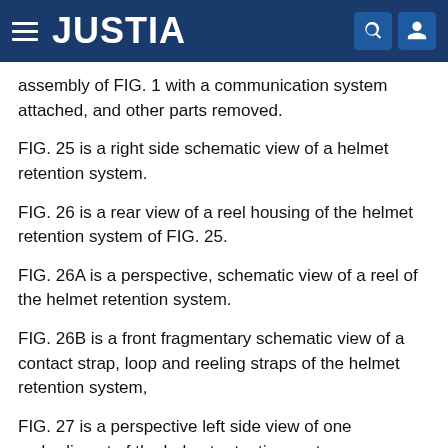JUSTIA
assembly of FIG. 1 with a communication system attached, and other parts removed.
FIG. 25 is a right side schematic view of a helmet retention system.
FIG. 26 is a rear view of a reel housing of the helmet retention system of FIG. 25.
FIG. 26A is a perspective, schematic view of a reel of the helmet retention system.
FIG. 26B is a front fragmentary schematic view of a contact strap, loop and reeling straps of the helmet retention system,
FIG. 27 is a perspective left side view of one embodiment of the helmet retention system.